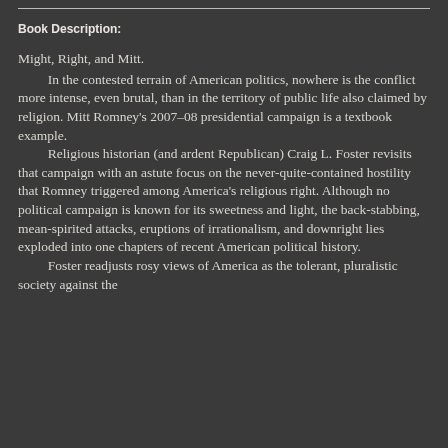Book Description:
Might, Right, and Mitt.
	In the contested terrain of American politics, nowhere is the conflict more intense, even brutal, than in the territory of public life also claimed by religion. Mitt Romney’s 2007–08 presidential campaign is a textbook example.
	Religious historian (and ardent Republican) Craig L. Foster revisits that campaign with an astute focus on the never-quite-contained hostility that Romney triggered among America’s religious right. Although no political campaign is known for its sweetness and light, the back-stabbing, mean-spirited attacks, eruptions of irrationalism, and downright lies exploded into one chapters of recent American political history.
	Foster readjusts rosy views of America as the tolerant, pluralistic society against the